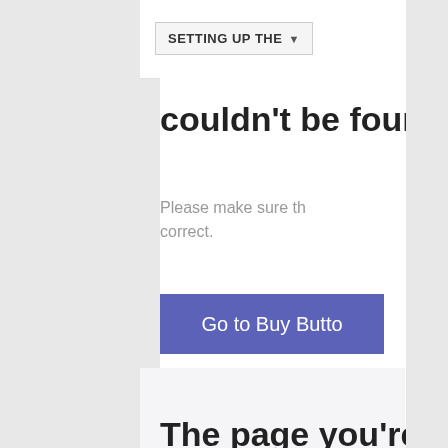SETTING UP THE ▾
couldn't be four
Please make sure th correct.
Go to Buy Butto
[Figure (illustration): Illustration of overlapping UI panels/windows with an orange starburst/asterisk symbol on a dashed-border window in the foreground]
The page you're